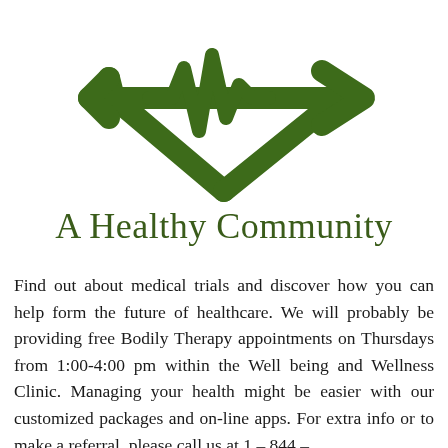[Figure (logo): Green heart with ECG/heartbeat line running through it and an arrow pointing right — a stylized health/community logo]
A Healthy Community
Find out about medical trials and discover how you can help form the future of healthcare. We will probably be providing free Bodily Therapy appointments on Thursdays from 1:00-4:00 pm within the Well being and Wellness Clinic. Managing your health might be easier with our customized packages and on-line apps. For extra info or to make a referral, please call us at 1 – 844 –